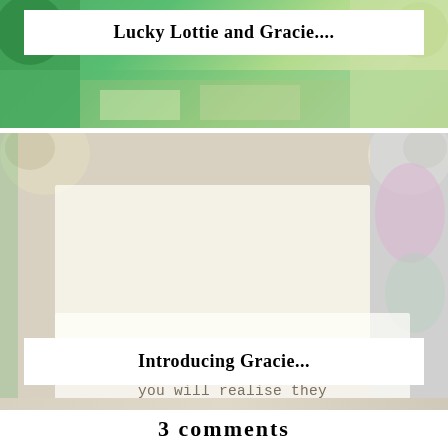[Figure (photo): Top photo showing green background with colorful items, with a white title banner overlay reading 'Lucky Lottie and Gracie....']
Lucky Lottie and Gracie....
[Figure (photo): Photo of a decorative quote plaque reading 'Enjoy the little things in life, for one day you will realise they were the big things.' with yarn pom poms and colorful items in background, and a white title banner overlay reading 'Introducing Gracie...']
Introducing Gracie...
3 comments